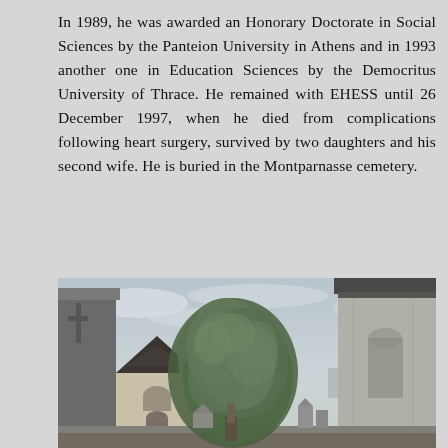In 1989, he was awarded an Honorary Doctorate in Social Sciences by the Panteion University in Athens and in 1993 another one in Education Sciences by the Democritus University of Thrace. He remained with EHESS until 26 December 1997, when he died from complications following heart surgery, survived by two daughters and his second wife. He is buried in the Montparnasse cemetery.
[Figure (photo): Photograph of the Montparnasse cemetery in Paris, showing stone mausoleums and tombstones, a large olive or similar tree in the center, a Gothic-style chapel with a pointed roof in the background, and overcast sky with bare tree branches visible at the top right.]